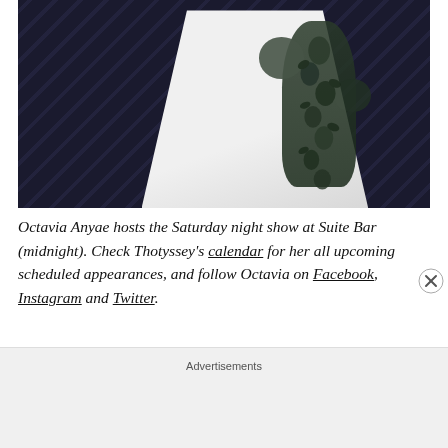[Figure (photo): Black and white photo of a person wearing a flowing white garment with dark floral botanical embroidery/print running vertically along the side, against a dark background with diagonal stripe pattern]
Octavia Anyae hosts the Saturday night show at Suite Bar (midnight). Check Thotyssey's calendar for her all upcoming scheduled appearances, and follow Octavia on Facebook, Instagram and Twitter.
Advertisements